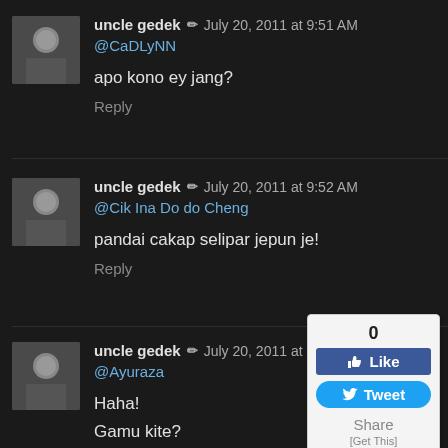uncle gedek ✏ July 20, 2011 at 9:51 AM
@CaDLyNN

apo kono ey jang?

Reply
uncle gedek ✏ July 20, 2011 at 9:52 AM
@Cik Ina Do do Cheng

pandai cakap selipar jepun je!

Reply
uncle gedek ✏ July 20, 2011 at 9:52 AM
@Ayuraza

Haha!

Gamu kite?
[Figure (infographic): Social sharing widget showing 0 likes, a Facebook Like button, a Twitter Tweet button, and a Share/Get This option]